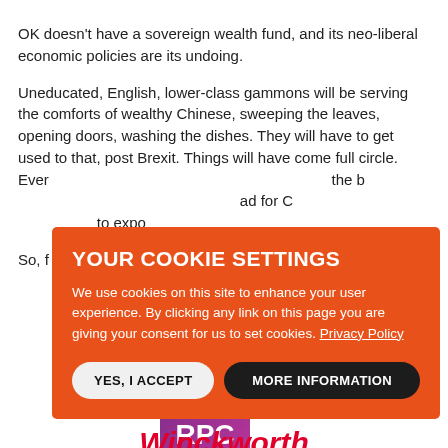OK doesn't have a sovereign wealth fund, and its neo-liberal economic policies are its undoing.
Uneducated, English, lower-class gammons will be serving the comforts of wealthy Chinese, sweeping the leaves, opening doors, washing the dishes. They will have to get used to that, post Brexit. Things will have come full circle. Ever... n the b... ad for C... to expo...
So, f...
[Figure (screenshot): Cookie consent overlay in orange with title 'YOUR COOKIE SETTINGS', body text about cookies and privacy policy link, and two buttons: 'YES, I ACCEPT' (light) and 'MORE INFORMATION' (dark).]
[Figure (logo): Salmon text logo in grey sans-serif]
[Figure (logo): RPC logo: purple/magenta gradient square with white RPC text]
[Figure (logo): Winckworth text in red italic bold font, partially visible]